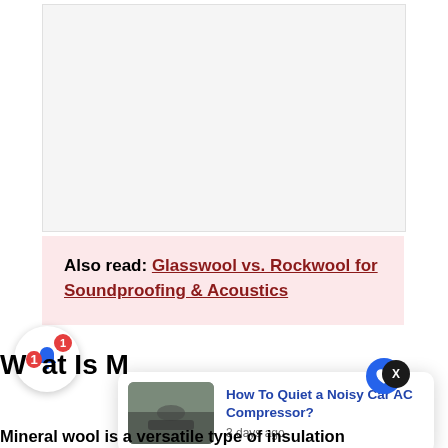[Figure (other): Advertisement placeholder (gray/light background box)]
Also read: Glasswool vs. Rockwool for Soundproofing & Acoustics
[Figure (other): Notification bell widget with badge showing 1 notification]
[Figure (other): Close (X) button, dark circle]
[Figure (other): Heart/save icon button, blue circle]
[Figure (other): Popup card showing article: How To Quiet a Noisy Car AC Compressor? with thumbnail image and date 3 days ago]
What Is M...
Mineral wool is a versatile type of insulation